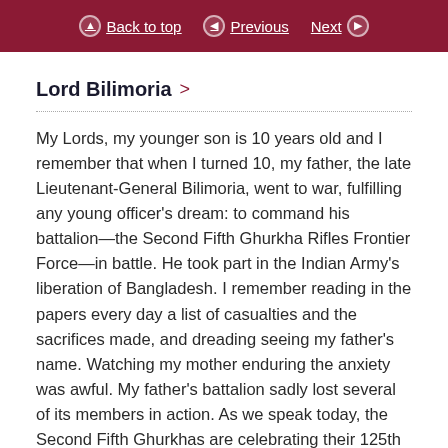Back to top | Previous | Next
Lord Bilimoria >
My Lords, my younger son is 10 years old and I remember that when I turned 10, my father, the late Lieutenant-General Bilimoria, went to war, fulfilling any young officer's dream: to command his battalion—the Second Fifth Ghurkha Rifles Frontier Force—in battle. He took part in the Indian Army's liberation of Bangladesh. I remember reading in the papers every day a list of casualties and the sacrifices made, and dreading seeing my father's name. Watching my mother enduring the anxiety was awful. My father's battalion sadly lost several of its members in action. As we speak today, the Second Fifth Ghurkhas are celebrating their 125th